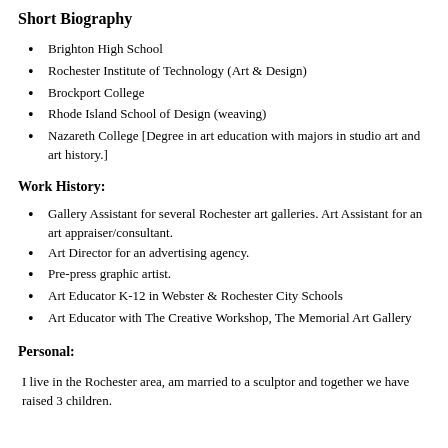Short Biography
Brighton High School
Rochester Institute of Technology (Art & Design)
Brockport College
Rhode Island School of Design (weaving)
Nazareth College [Degree in art education with majors in studio art and art history.]
Work History:
Gallery Assistant for several Rochester art galleries. Art Assistant for an art appraiser/consultant.
Art Director for an advertising agency.
Pre-press graphic artist.
Art Educator K-12 in Webster & Rochester City Schools
Art Educator with The Creative Workshop, The Memorial Art Gallery
Personal:
I live in the Rochester area, am married to a sculptor and together we have raised 3 children.